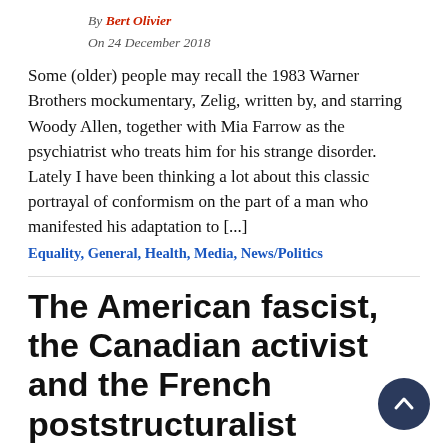By Bert Olivier
On 24 December 2018
Some (older) people may recall the 1983 Warner Brothers mockumentary, Zelig, written by, and starring Woody Allen, together with Mia Farrow as the psychiatrist who treats him for his strange disorder. Lately I have been thinking a lot about this classic portrayal of conformism on the part of a man who manifested his adaptation to [...]
Equality, General, Health, Media, News/Politics
The American fascist, the Canadian activist and the French poststructuralist
By Bert Olivier
On 25 September 2018
In the Preface to Gilles Deleuze and Félix Guattari's major work, Anti-Oedipus: